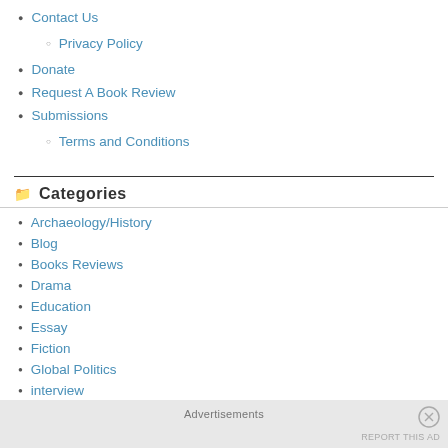Contact Us
Privacy Policy
Donate
Request A Book Review
Submissions
Terms and Conditions
Categories
Archaeology/History
Blog
Books Reviews
Drama
Education
Essay
Fiction
Global Politics
interview
Leadership
Advertisements